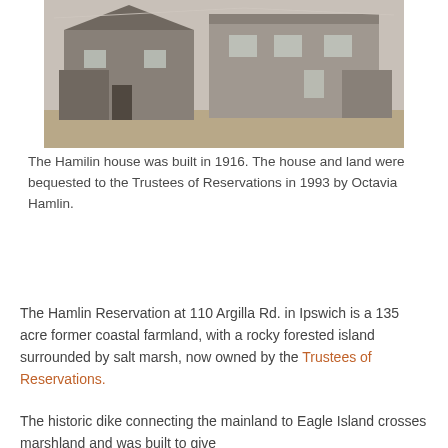[Figure (photo): Black and white photograph of the Hamilin house, a two-story residential building with a porch, taken in winter with bare ground visible in front.]
The Hamilin house was built in 1916. The house and land were bequested to the Trustees of Reservations in 1993 by Octavia Hamlin.
The Hamlin Reservation at 110 Argilla Rd. in Ipswich is a 135 acre former coastal farmland, with a rocky forested island surrounded by salt marsh, now owned by the Trustees of Reservations.
The historic dike connecting the mainland to Eagle Island crosses marshland and was built to give